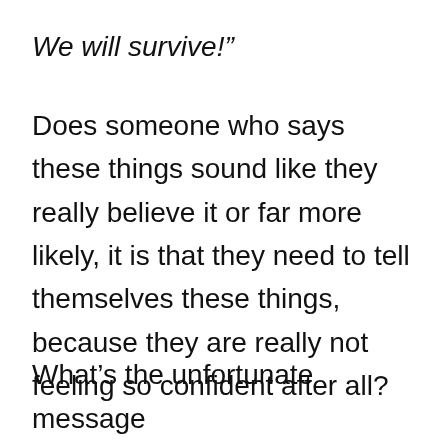We will survive!"
Does someone who says these things sound like they really believe it or far more likely, it is that they need to tell themselves these things, because they are really not feeling so confident after all?
What's the unfortunate message